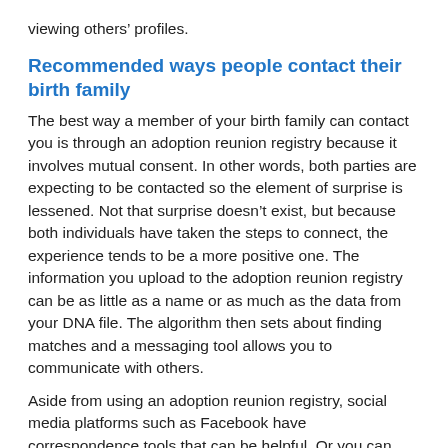viewing others' profiles.
Recommended ways people contact their birth family
The best way a member of your birth family can contact you is through an adoption reunion registry because it involves mutual consent. In other words, both parties are expecting to be contacted so the element of surprise is lessened. Not that surprise doesn't exist, but because both individuals have taken the steps to connect, the experience tends to be a more positive one. The information you upload to the adoption reunion registry can be as little as a name or as much as the data from your DNA file. The algorithm then sets about finding matches and a messaging tool allows you to communicate with others.
Aside from using an adoption reunion registry, social media platforms such as Facebook have correspondence tools that can be helpful. Or you can